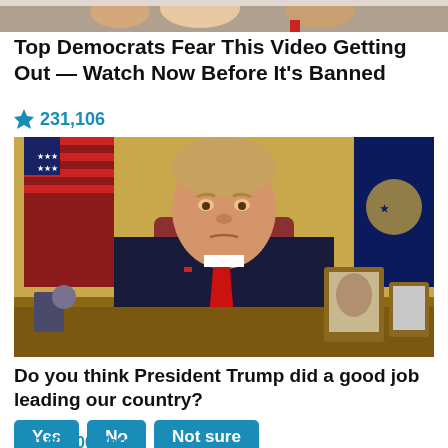[Figure (photo): Partial photo at top of page showing people, cropped]
Top Democrats Fear This Video Getting Out — Watch Now Before It's Banned
🔥 231,106
[Figure (photo): Photo of a man in a dark suit with red tie sitting at a desk in front of American flags]
Do you think President Trump did a good job leading our country?
Yes  No  Not sure
🔥 140,000 Votes